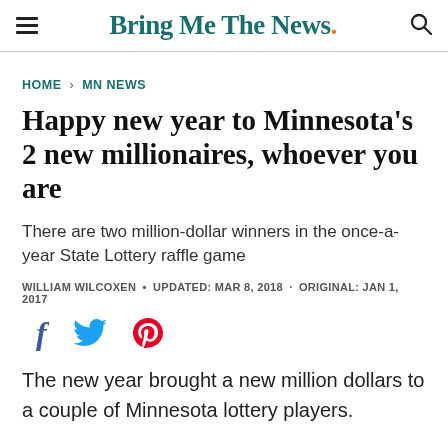Bring Me The News.
HOME > MN NEWS
Happy new year to Minnesota's 2 new millionaires, whoever you are
There are two million-dollar winners in the once-a-year State Lottery raffle game
WILLIAM WILCOXEN • UPDATED: MAR 8, 2018 · ORIGINAL: JAN 1, 2017
[Figure (infographic): Social share icons: Facebook (f), Twitter bird, Pinterest (P)]
The new year brought a new million dollars to a couple of Minnesota lottery players.